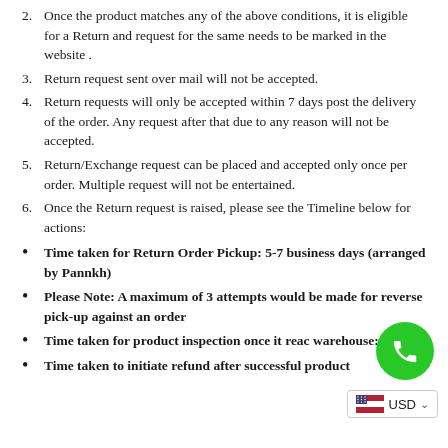2. Once the product matches any of the above conditions, it is eligible for a Return and request for the same needs to be marked in the website .
3. Return request sent over mail will not be accepted.
4. Return requests will only be accepted within 7 days post the delivery of the order. Any request after that due to any reason will not be accepted.
5. Return/Exchange request can be placed and accepted only once per order. Multiple request will not be entertained.
6. Once the Return request is raised, please see the Timeline below for actions:
Time taken for Return Order Pickup: 5-7 business days (arranged by Pannkh)
Please Note: A maximum of 3 attempts would be made for reverse pick-up against an order
Time taken for product inspection once it reaches warehouse: 2 days
Time taken to initiate refund after successful product